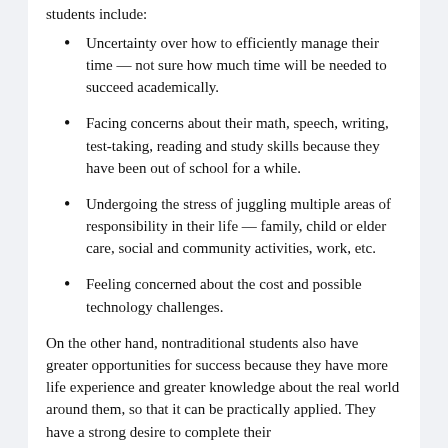students include:
Uncertainty over how to efficiently manage their time — not sure how much time will be needed to succeed academically.
Facing concerns about their math, speech, writing, test-taking, reading and study skills because they have been out of school for a while.
Undergoing the stress of juggling multiple areas of responsibility in their life — family, child or elder care, social and community activities, work, etc.
Feeling concerned about the cost and possible technology challenges.
On the other hand, nontraditional students also have greater opportunities for success because they have more life experience and greater knowledge about the real world around them, so that it can be practically applied. They have a strong desire to complete their